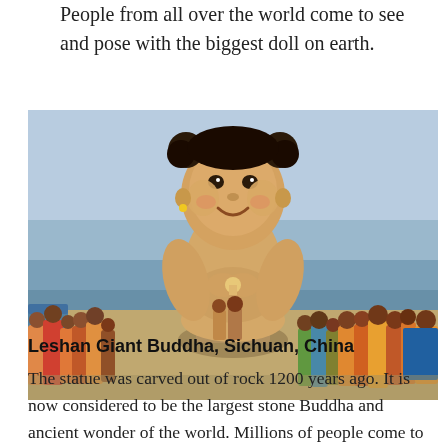People from all over the world come to see and pose with the biggest doll on earth.
[Figure (photo): A large statue of a chubby baby girl with pigtails sitting on a pedestal near the sea, surrounded by crowds of people posing with it. The statue appears to be at a seaside location with the ocean visible in the background.]
Leshan Giant Buddha, Sichuan, China
The statue was carved out of rock 1200 years ago. It is now considered to be the largest stone Buddha and ancient wonder of the world. Millions of people come to